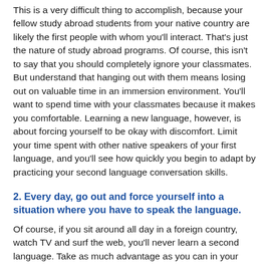This is a very difficult thing to accomplish, because your fellow study abroad students from your native country are likely the first people with whom you'll interact. That's just the nature of study abroad programs. Of course, this isn't to say that you should completely ignore your classmates. But understand that hanging out with them means losing out on valuable time in an immersion environment. You'll want to spend time with your classmates because it makes you comfortable. Learning a new language, however, is about forcing yourself to be okay with discomfort. Limit your time spent with other native speakers of your first language, and you'll see how quickly you begin to adapt by practicing your second language conversation skills.
2. Every day, go out and force yourself into a situation where you have to speak the language.
Of course, if you sit around all day in a foreign country, watch TV and surf the web, you'll never learn a second language. Take as much advantage as you can in your